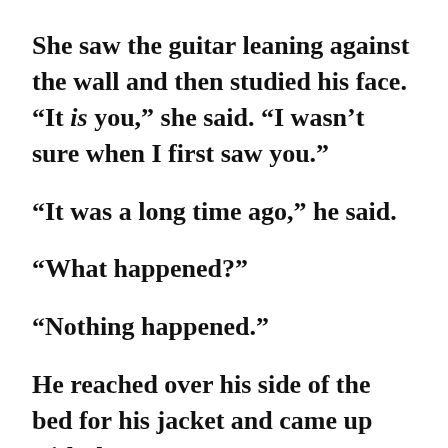She saw the guitar leaning against the wall and then studied his face. “It is you,” she said. “I wasn’t sure when I first saw you.”
“It was a long time ago,” he said.
“What happened?”
“Nothing happened.”
He reached over his side of the bed for his jacket and came up with the